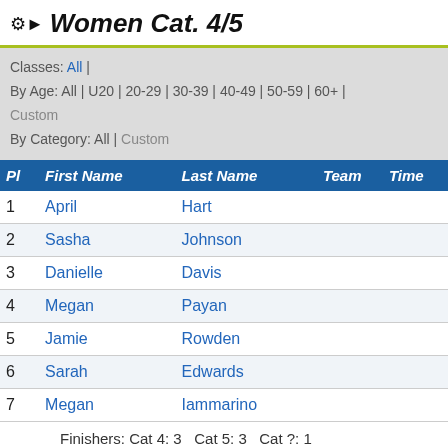Women Cat. 4/5
Classes: All | By Age: All | U20 | 20-29 | 30-39 | 40-49 | 50-59 | 60+ | Custom By Category: All | Custom
| Pl | First Name | Last Name | Team | Time |
| --- | --- | --- | --- | --- |
| 1 | April | Hart |  |  |
| 2 | Sasha | Johnson |  |  |
| 3 | Danielle | Davis |  |  |
| 4 | Megan | Payan |  |  |
| 5 | Jamie | Rowden |  |  |
| 6 | Sarah | Edwards |  |  |
| 7 | Megan | Iammarino |  |  |
Finishers: Cat 4: 3   Cat 5: 3   Cat ?: 1
Women Cat. 5